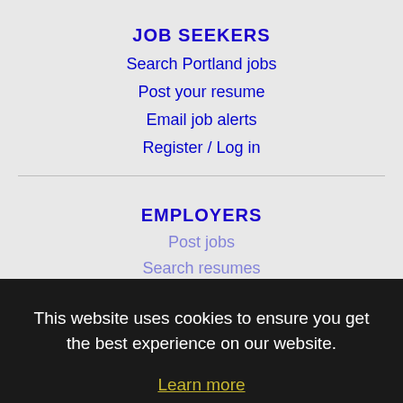JOB SEEKERS
Search Portland jobs
Post your resume
Email job alerts
Register / Log in
EMPLOYERS
Post jobs
Search resumes
IMMIGRATION SPECIALISTS
Resources
Immigration FAQs
This website uses cookies to ensure you get the best experience on our website.
Learn more
Got it!